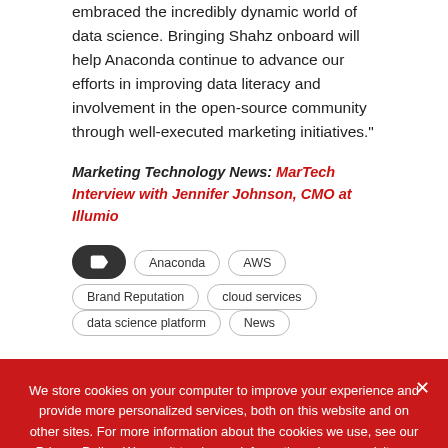embraced the incredibly dynamic world of data science. Bringing Shahz onboard will help Anaconda continue to advance our efforts in improving data literacy and involvement in the open-source community through well-executed marketing initiatives."
Marketing Technology News: MarTech Interview with Jennifer Johnson, CMO at Illumio
Anaconda
AWS
Brand Reputation
cloud services
data science platform
News
We store cookies on your computer to improve your experience and provide more personalized services, both on this website and on other sites. For more information about the cookies we use, see our Privacy Policy. We won't track your information when you visit our site. We will have to use at least one cookie to ensure that you won't have to make this choice again.
Accept   Privacy Policy